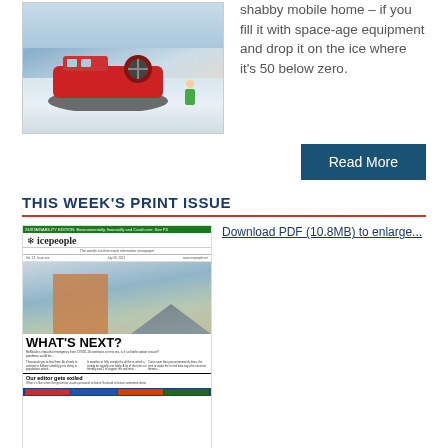[Figure (photo): A hovercraft on ice/snow in an arctic environment, with a person in a green jacket standing nearby. Vehicle is red and black.]
shabby mobile home – if you fill it with space-age equipment and drop it on the ice where it's 50 below zero.
Read More
THIS WEEK'S PRINT ISSUE
[Figure (photo): Thumbnail of the icepeople newspaper front page with headline WHAT'S NEXT? and subheading Our editor gets exiled]
Download PDF (10.8MB) to enlarge...